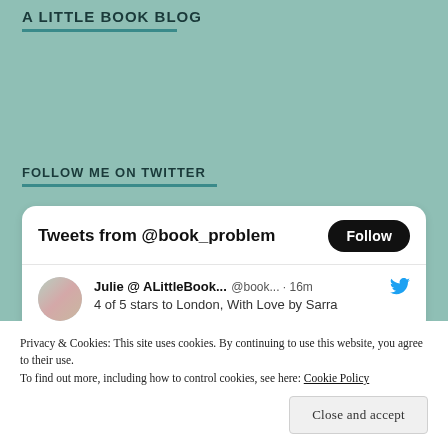A LITTLE BOOK BLOG
FOLLOW ME ON TWITTER
[Figure (screenshot): Twitter widget showing 'Tweets from @book_problem' with a Follow button, and a tweet by Julie @ ALittleBook... @book... · 16m about '4 of 5 stars to London, With Love by Sarra']
Privacy & Cookies: This site uses cookies. By continuing to use this website, you agree to their use.
To find out more, including how to control cookies, see here: Cookie Policy
Close and accept